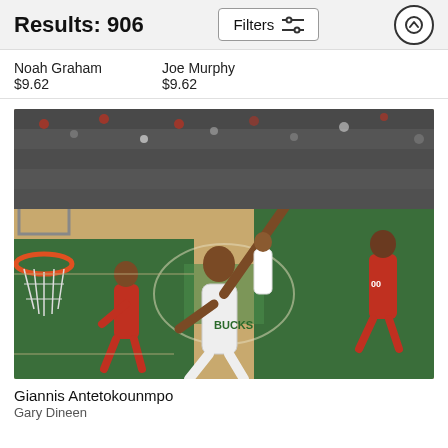Results: 906
Noah Graham
$9.62
Joe Murphy
$9.62
[Figure (photo): Basketball player Giannis Antetokounmpo dunking at a Milwaukee Bucks NBA game on the Fiserv Forum court, wearing Bucks uniform, reaching to dunk with opponent players in red uniforms nearby and crowd in background.]
Giannis Antetokounmpo
Gary Dineen